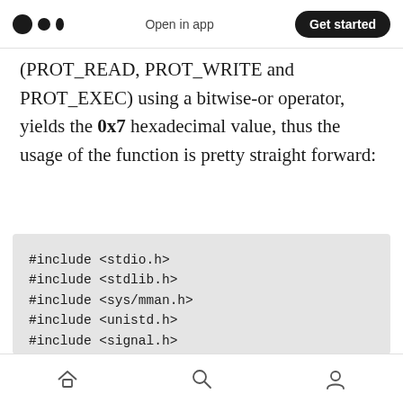Open in app  Get started
(PROT_READ, PROT_WRITE and PROT_EXEC) using a bitwise-or operator, yields the 0x7 hexadecimal value, thus the usage of the function is pretty straight forward:
[Figure (screenshot): Code block showing C includes and void greet_me() function with char name[200] and gets(name)]
Home  Search  Profile